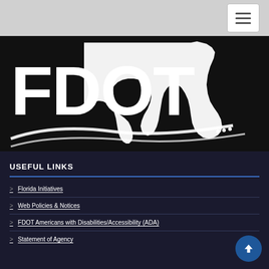[Figure (logo): FDOT (Florida Department of Transportation) logo with white text and Florida state outline on black background, with swooping road lines]
USEFUL LINKS
Florida Initiatives
Web Policies & Notices
FDOT Americans with Disabilities/Accessibility (ADA)
Statement of Agency